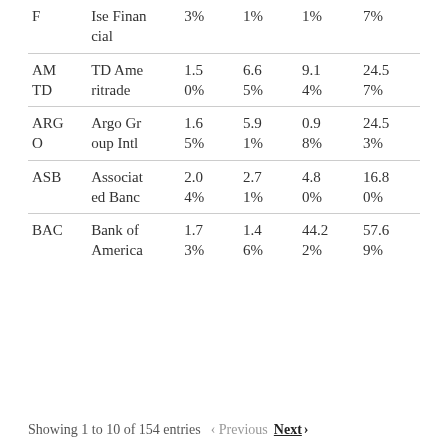| Ticker | Name | Col3 | Col4 | Col5 | Col6 |
| --- | --- | --- | --- | --- | --- |
| F | Ise Financial | 3% | 1% | 1% | 7% |
| AM TD | TD Ameritrade | 1.5 0% | 6.6 5% | 9.1 4% | 24.5 7% |
| ARGO | Argo Group Intl | 1.6 5% | 5.9 1% | 0.9 8% | 24.5 3% |
| ASB | Associated Banc | 2.0 4% | 2.7 1% | 4.8 0% | 16.8 0% |
| BAC | Bank of America | 1.7 3% | 1.4 6% | 44.2 2% | 57.6 9% |
Showing 1 to 10 of 154 entries  Previous  Next ›